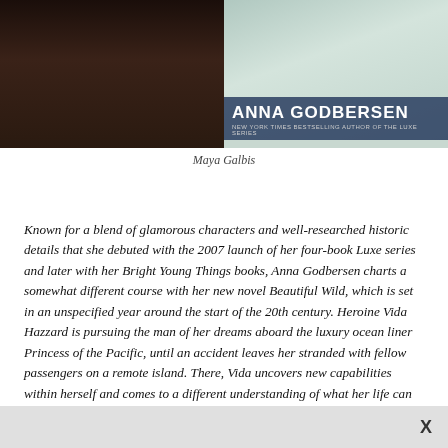[Figure (photo): Two side-by-side images: left is a dark portrait photo (likely Maya Galbis), right is a book cover or author photo for Anna Godbersen with text 'NEW YORK TIMES BESTSELLING AUTHOR OF THE LUXE SERIES']
Maya Galbis
Known for a blend of glamorous characters and well-researched historic details that she debuted with the 2007 launch of her four-book Luxe series and later with her Bright Young Things books, Anna Godbersen charts a somewhat different course with her new novel Beautiful Wild, which is set in an unspecified year around the start of the 20th century. Heroine Vida Hazzard is pursuing the man of her dreams aboard the luxury ocean liner Princess of the Pacific, until an accident leaves her stranded with fellow passengers on a remote island. There, Vida uncovers new capabilities within herself and comes to a different understanding of what her life can be. Godbersen—who teaches creative writing in New York City—spoke with PW about tackling the tropes of the shipboard romance and shipwreck narrative, the hazards and pleasures of research, and how her writing has evolved.